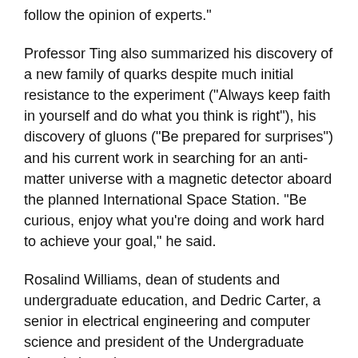follow the opinion of experts."
Professor Ting also summarized his discovery of a new family of quarks despite much initial resistance to the experiment ("Always keep faith in yourself and do what you think is right"), his discovery of gluons ("Be prepared for surprises") and his current work in searching for an anti-matter universe with a magnetic detector aboard the planned International Space Station. "Be curious, enjoy what you're doing and work hard to achieve your goal," he said.
Rosalind Williams, dean of students and undergraduate education, and Dedric Carter, a senior in electrical engineering and computer science and president of the Undergraduate Association, also